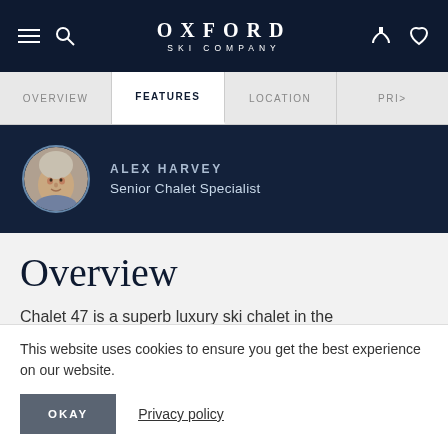OXFORD SKI COMPANY
[Figure (screenshot): Navigation tab bar with OVERVIEW, FEATURES (active/selected), LOCATION, PRICE tabs]
[Figure (photo): Alex Harvey, Senior Chalet Specialist profile banner with circular headshot photo]
Overview
Chalet 47 is a superb luxury ski chalet in the
This website uses cookies to ensure you get the best experience on our website.
OKAY
Privacy policy